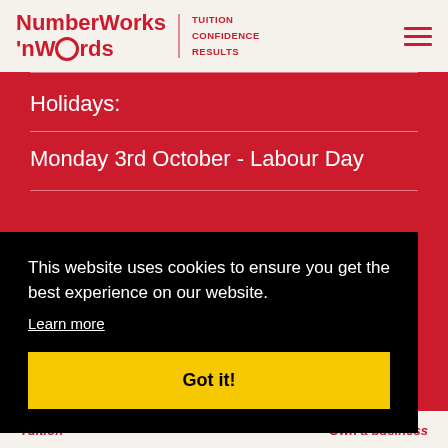[Figure (logo): NumberWorks'nWords logo with gear icon, tagline: TUITION CONFIDENCE RESULTS, and hamburger menu icon]
Holidays:
Monday 3rd October - Labour Day
This website uses cookies to ensure you get the best experience on our website.
Learn more
Got it!
Tuition   Own a business